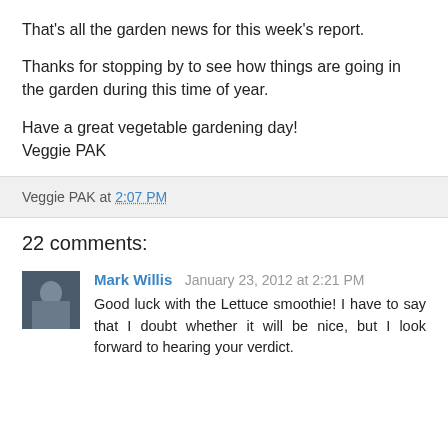That's all the garden news for this week's report.
Thanks for stopping by to see how things are going in the garden during this time of year.
Have a great vegetable gardening day!
Veggie PAK
Veggie PAK at 2:07 PM
22 comments:
Mark Willis  January 23, 2012 at 2:21 PM
Good luck with the Lettuce smoothie! I have to say that I doubt whether it will be nice, but I look forward to hearing your verdict.